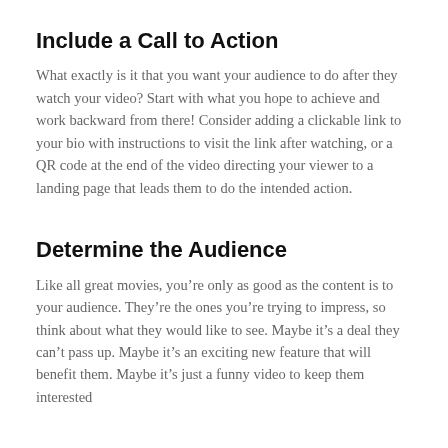Include a Call to Action
What exactly is it that you want your audience to do after they watch your video? Start with what you hope to achieve and work backward from there! Consider adding a clickable link to your bio with instructions to visit the link after watching, or a QR code at the end of the video directing your viewer to a landing page that leads them to do the intended action.
Determine the Audience
Like all great movies, you’re only as good as the content is to your audience. They’re the ones you’re trying to impress, so think about what they would like to see. Maybe it’s a deal they can’t pass up. Maybe it’s an exciting new feature that will benefit them. Maybe it’s just a funny video to keep them interested